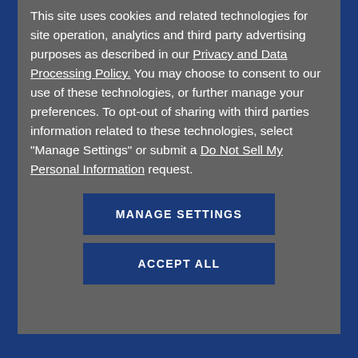This site uses cookies and related technologies for site operation, analytics and third party advertising purposes as described in our Privacy and Data Processing Policy. You may choose to consent to our use of these technologies, or further manage your preferences. To opt-out of sharing with third parties information related to these technologies, select "Manage Settings" or submit a Do Not Sell My Personal Information request.
MANAGE SETTINGS
ACCEPT ALL